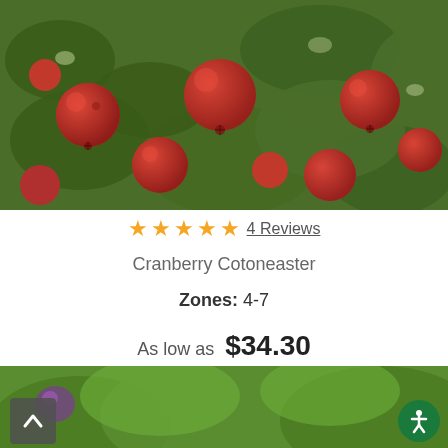[Figure (photo): Close-up photo of bright red cranberry cotoneaster berries with dark green leaves]
★★★★★ 4 Reviews
Cranberry Cotoneaster
Zones: 4-7
As low as  $34.30
[Figure (photo): Partial view of green foliage plant at bottom of page]